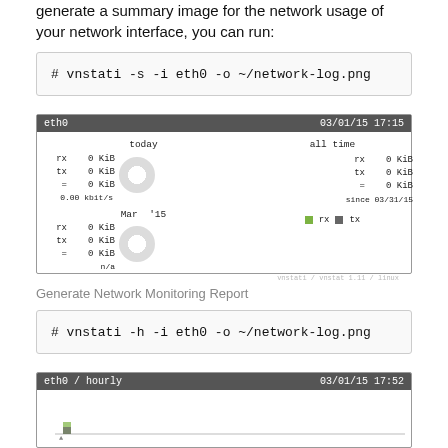generate a summary image for the network usage of your network interface, you can run:
# vnstati -s -i eth0 -o ~/network-log.png
[Figure (screenshot): vnstati summary output screenshot showing eth0 network stats: today rx 0 KiB, tx 0 KiB, = 0 KiB, 0.00 kbit/s; Mar '15 rx 0 KiB, tx 0 KiB, = 0 KiB, n/a; all time rx 0 KiB, tx 0 KiB, = 0 KiB, since 03/31/15; legend rx (green) tx (gray); date 03/01/15 17:15]
Generate Network Monitoring Report
# vnstati -h -i eth0 -o ~/network-log.png
[Figure (screenshot): vnstati hourly output screenshot showing eth0 / hourly header, date 03/01/15 17:52, with a bar chart stub visible at the bottom]